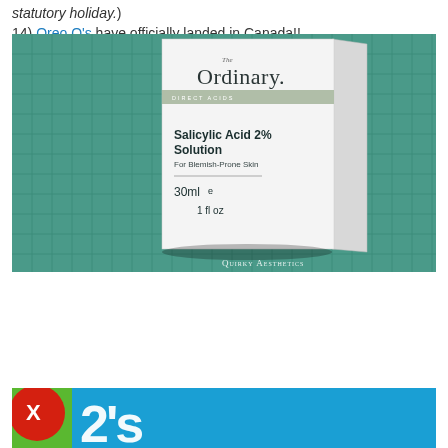14) Oreo O's have officially landed in Canada!!
[Figure (photo): Photo of The Ordinary Salicylic Acid 2% Solution For Blemish-Prone Skin 30ml / 1 fl oz box, placed on a green cutting mat. Watermark reads QUIRKY AESTHETICS.]
[Figure (photo): Partial view of a blue and green Oreo O's cereal box at the bottom of the page.]